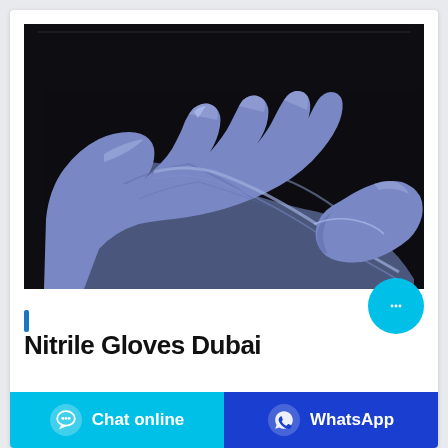[Figure (photo): Two hands wearing blue/purple nitrile gloves stretching the glove material against a dark background, demonstrating elasticity.]
Nitrile Gloves Dubai